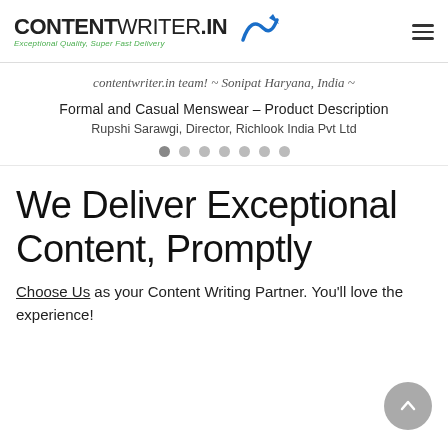CONTENTWRITER.IN — Exceptional Quality, Super Fast Delivery
contentwriter.in team! ~ Sonipat Haryana, India ~
Formal and Casual Menswear – Product Description
Rupshi Sarawgi, Director, Richlook India Pvt Ltd
We Deliver Exceptional Content, Promptly
Choose Us as your Content Writing Partner. You'll love the experience!